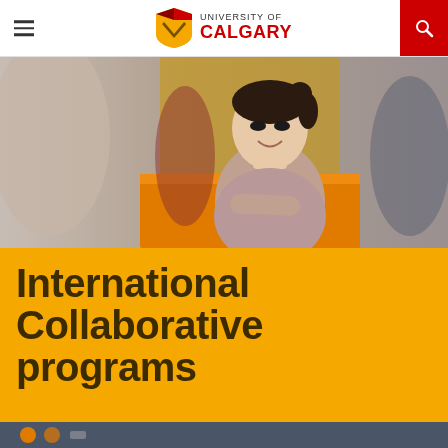University of Calgary
[Figure (photo): A smiling young woman with dark hair in a bun, leaning on an orange desk/counter in a university classroom or library setting. Other students are visible blurred in the background, with yellow walls.]
International Collaborative programs
[Figure (other): Bottom navigation strip with dark background, partially visible icons/content.]